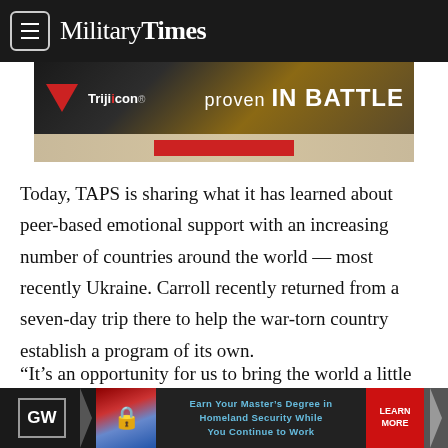MilitaryTimes
[Figure (screenshot): Trijicon advertisement banner: dark background with gun parts imagery, Trijicon red triangle logo on left, text 'PROVEN IN BATTLE' on right. Below is a wooden surface strip with a red bar.]
Today, TAPS is sharing what it has learned about peer-based emotional support with an increasing number of countries around the world — most recently Ukraine. Carroll recently returned from a seven-day trip there to help the war-torn country establish a program of its own.
“It’s an opportunity for us to bring the world a little closer together,” she said. “If families who have sacrificed in the cause
[Figure (screenshot): GW (George Washington University) advertisement: dark background with GW logo, flag and lock image, text 'Earn Your Master’s Degree in Homeland Security While You Continue to Work', red LEARN MORE button, and chevron arrow.]